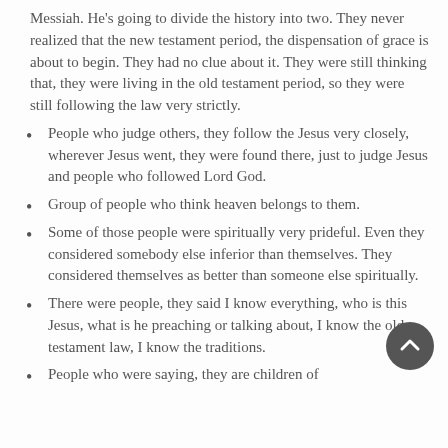Messiah. He's going to divide the history into two. They never realized that the new testament period, the dispensation of grace is about to begin. They had no clue about it. They were still thinking that, they were living in the old testament period, so they were still following the law very strictly.
People who judge others, they follow the Jesus very closely, wherever Jesus went, they were found there, just to judge Jesus and people who followed Lord God.
Group of people who think heaven belongs to them.
Some of those people were spiritually very prideful. Even they considered somebody else inferior than themselves. They considered themselves as better than someone else spiritually.
There were people, they said I know everything, who is this Jesus, what is he preaching or talking about, I know the old testament law, I know the traditions.
People who were saying, they are children of